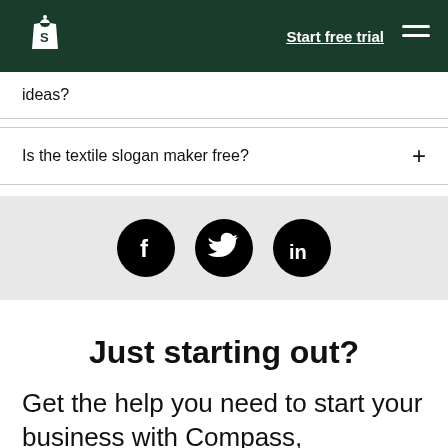Shopify — Start free trial
ideas?
Is the textile slogan maker free?
[Figure (other): Social media icons: Facebook, Twitter, LinkedIn on grey background]
Just starting out?
Get the help you need to start your business with Compass, Exchange,